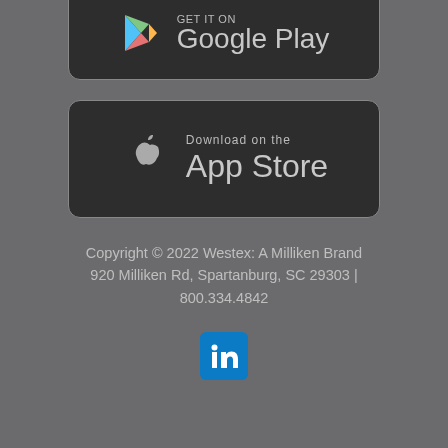[Figure (logo): Google Play store download button, partially visible at top of page, dark rounded rectangle with Google Play triangle logo and text 'Google Play']
[Figure (logo): Apple App Store download button, dark rounded rectangle with Apple logo and text 'Download on the App Store']
Copyright © 2022 Westex: A Milliken Brand
920 Milliken Rd, Spartanburg, SC 29303 | 800.334.4842
[Figure (logo): LinkedIn square blue icon with white 'in' text]